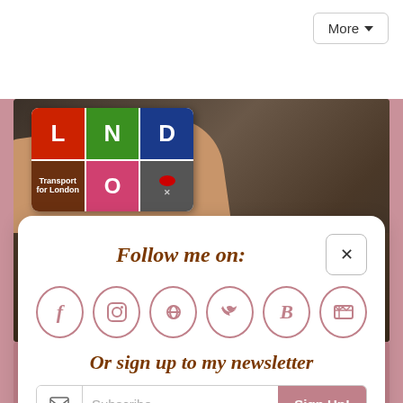[Figure (screenshot): Top navigation bar with More dropdown button on white background]
[Figure (photo): Photo of a hand holding a London Pass card (Transport for London) over dark water, with italic white text overlay reading 'with the London Pass']
Follow me on:
[Figure (infographic): Row of 6 social media icon circles: Facebook (f), Instagram, Pinterest, Twitter, Bloglovin (B), RSS feed]
Or sign up to my newsletter
Subscribe
Sign Up!
Historic Town